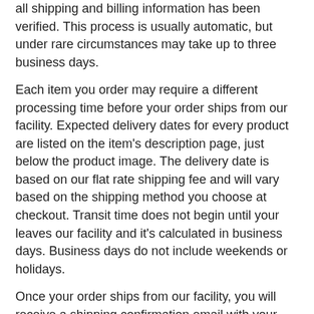all shipping and billing information has been verified. This process is usually automatic, but under rare circumstances may take up to three business days.
Each item you order may require a different processing time before your order ships from our facility. Expected delivery dates for every product are listed on the item's description page, just below the product image. The delivery date is based on our flat rate shipping fee and will vary based on the shipping method you choose at checkout. Transit time does not begin until your leaves our facility and it's calculated in business days. Business days do not include weekends or holidays.
Once your order ships from our facility, you will receive a shipping confirmation email with your tracking information. If you have your tracking number, please visit Tracking Your Order for more information.
Please contact us if you have one of the following issues:
You never received an order confirmation email and